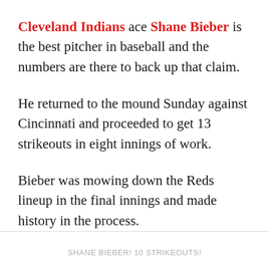Cleveland Indians ace Shane Bieber is the best pitcher in baseball and the numbers are there to back up that claim.
He returned to the mound Sunday against Cincinnati and proceeded to get 13 strikeouts in eight innings of work.
Bieber was mowing down the Reds lineup in the final innings and made history in the process.
SHANE BIEBER! 10 STRIKEOUTS!